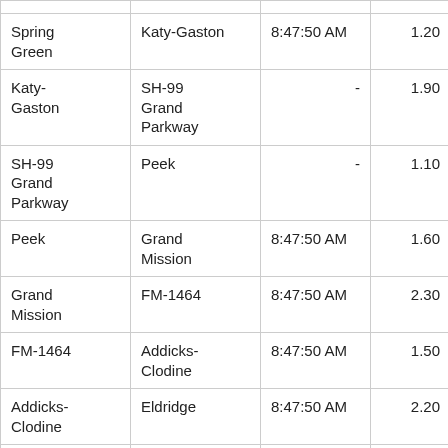| Spring Green | Katy-Gaston | 8:47:50 AM | 1.20 | 1:3… |
| Katy-Gaston | SH-99 Grand Parkway | - | 1.90 |  |
| SH-99 Grand Parkway | Peek | - | 1.10 |  |
| Peek | Grand Mission | 8:47:50 AM | 1.60 | 1:1… |
| Grand Mission | FM-1464 | 8:47:50 AM | 2.30 | 2:0… |
| FM-1464 | Addicks-Clodine | 8:47:50 AM | 1.50 | 1:1… |
| Addicks-Clodine | Eldridge | 8:47:50 AM | 2.20 | 1:4… |
| Eldridge | West Houston | 8:47:50 AM | 1.90 | 1:3… |